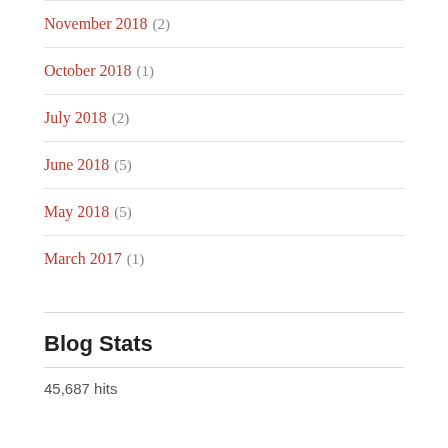November 2018 (2)
October 2018 (1)
July 2018 (2)
June 2018 (5)
May 2018 (5)
March 2017 (1)
Blog Stats
45,687 hits